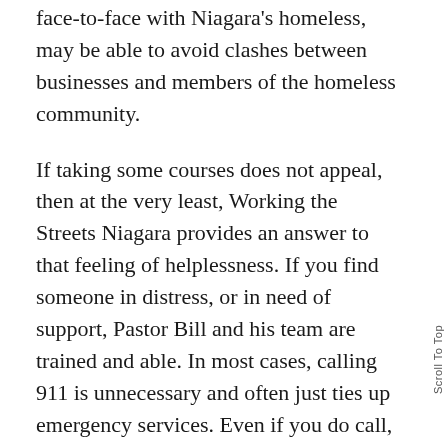face-to-face with Niagara's homeless, may be able to avoid clashes between businesses and members of the homeless community.
If taking some courses does not appeal, then at the very least, Working the Streets Niagara provides an answer to that feeling of helplessness. If you find someone in distress, or in need of support, Pastor Bill and his team are trained and able. In most cases, calling 911 is unnecessary and often just ties up emergency services. Even if you do call, chances are the person you are calling for will not want to go to the hospital. Instead, there's Pastor Bill and his team. They know how to get someone into an emergency shelter, or perform a welfare check. They have blankets, socks and emergency kits ready for